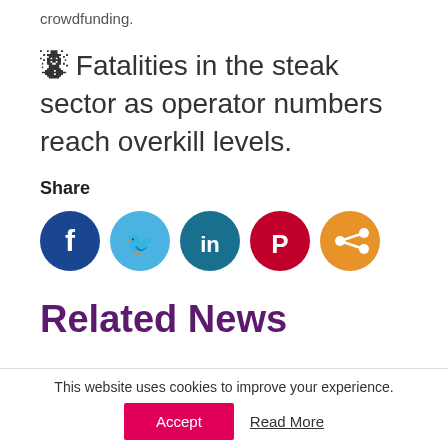crowdfunding.
❧ Fatalities in the steak sector as operator numbers reach overkill levels.
Share
[Figure (infographic): Social sharing icons: Facebook (dark blue), Twitter (light blue), LinkedIn (teal/dark cyan), Pinterest (red), Share (orange)]
Related News
This website uses cookies to improve your experience.
Accept   Read More